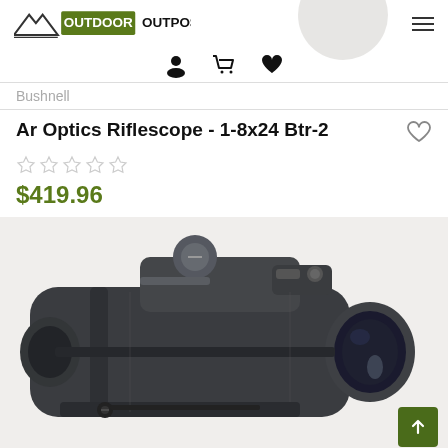Outdoor Outpost
Bushnell
Ar Optics Riflescope - 1-8x24 Btr-2
$419.96
[Figure (photo): Close-up photo of a Bushnell AR Optics riflescope in matte black finish, showing top turret adjustment knob, side control buttons, and objective lens from a 3/4 angle view.]